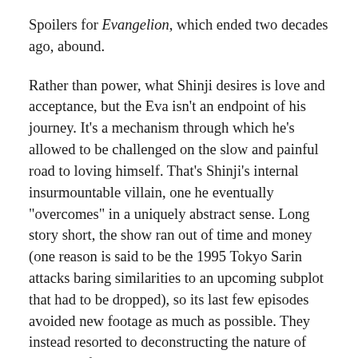Spoilers for Evangelion, which ended two decades ago, abound.
Rather than power, what Shinji desires is love and acceptance, but the Eva isn't an endpoint of his journey. It's a mechanism through which he's allowed to be challenged on the slow and painful road to loving himself. That's Shinji's internal insurmountable villain, one he eventually “övercomes” in a uniquely abstract sense. Long story short, the show ran out of time and money (one reason is said to be the 1995 Tokyo Sarin attacks baring similarities to an upcoming subplot that had to be dropped), so its last few episodes avoided new footage as much as possible. They instead resorted to deconstructing the nature of story itself, at least story as told through animation, breaking Shinji down to lines and colours as a means to reflect on all the elements that made him, well, him.
These scenes come in the form of conversations between Shinji and what appear to be a combination of himself and other characters, off in the darkness as he sits alone in a secluded room, illuminated by spotlight. It may well be interpreted as him